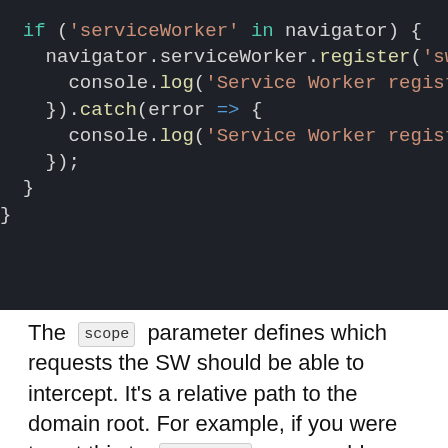[Figure (screenshot): Dark-themed code editor screenshot showing JavaScript service worker registration code with syntax highlighting. Lines show: if ('serviceWorker' in navigator) {, navigator.serviceWorker.register('sw.js', console.log('Service Worker registered, }).catch(error => {, console.log('Service Worker registrati, });, }, }]
The scope parameter defines which requests the SW should be able to intercept. It's a relative path to the domain root. For example, if you were to set this to /articles , you could control requests to yourdomain.com/articles/my-post but not to